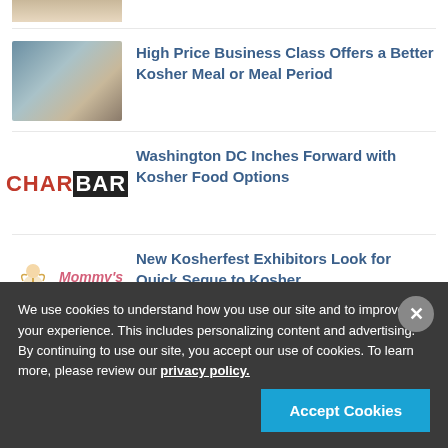[Figure (photo): Partial view of a person at top of page (cropped)]
[Figure (photo): Dining table with white plates and wine glasses, business class airplane meal setting]
High Price Business Class Offers a Better Kosher Meal or Meal Period
[Figure (logo): CHARBAR logo - CHAR in red, BAR in white on black background]
Washington DC Inches Forward with Kosher Food Options
[Figure (logo): Mommy's logo with baby/stork illustration and pink Mommy's text]
New Kosherfest Exhibitors Look for Quick Segue to Kosher
We use cookies to understand how you use our site and to improve your experience. This includes personalizing content and advertising. By continuing to use our site, you accept our use of cookies. To learn more, please review our privacy policy.